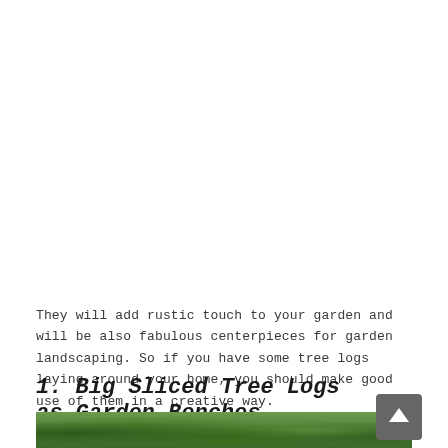They will add rustic touch to your garden and will be also fabulous centerpieces for garden landscaping. So if you have some tree logs laying around your home, you should make good use of them in a creative way.
1. Big Sliced Tree Logs as Garden Benches
[Figure (photo): Partial view of a lush green garden photo strip at the bottom of the page]